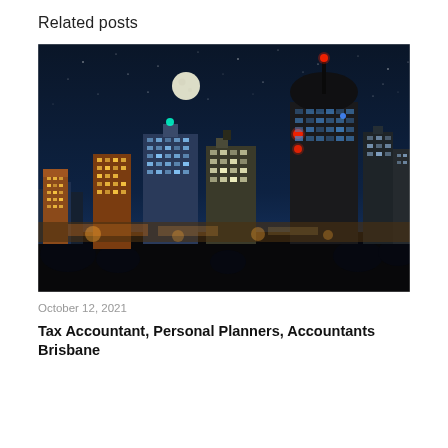Related posts
[Figure (photo): Night cityscape of Brisbane with illuminated skyscrapers, a full moon in a dark blue starry sky, and colourful building lights]
October 12, 2021
Tax Accountant, Personal Planners, Accountants Brisbane
Read more